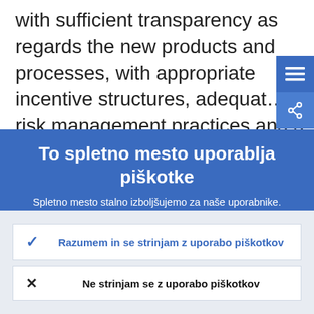with sufficient transparency as regards the new products and processes, with appropriate incentive structures, adequate risk management practices and a proper
To spletno mesto uporablja piškotke
Spletno mesto stalno izboljšujemo za naše uporabnike. V ta namen uporabljamo anonimne podatke, ki jih pridobivamo s piškotki.
Več o tem, kako uporabljamo piškotke
Razumem in se strinjam z uporabo piškotkov
Ne strinjam se z uporabo piškotkov